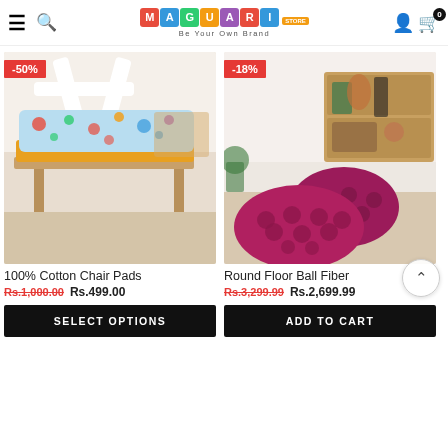Maguari Store - Be Your Own Brand
[Figure (photo): Product photo of 100% Cotton Chair Pad on a white wooden chair with a colorful patterned fabric, indoor setting with wooden floor. Discount badge: -50%]
100% Cotton Chair Pads
Rs.1,000.00  Rs.499.00
SELECT OPTIONS
[Figure (photo): Product photo of Round Floor Ball Fiber cushions in dark magenta/berry color on wooden floor with wooden furniture in background. Discount badge: -18%]
Round Floor Ball Fiber
Rs.3,299.99  Rs.2,699.99
ADD TO CART